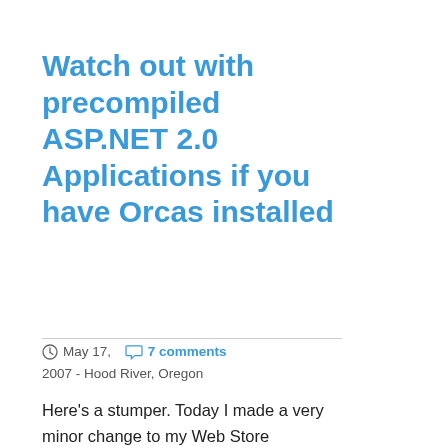Watch out with precompiled ASP.NET 2.0 Applications if you have Orcas installed
May 17, 2007 - Hood River, Oregon   7 comments
Here's a stumper. Today I made a very minor change to my Web Store application. It's basically